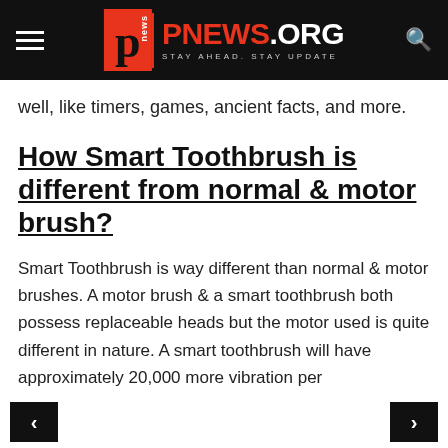PNEWS.ORG — STAY AHEAD. STAY UPDATE
well, like timers, games, ancient facts, and more.
How Smart Toothbrush is different from normal & motor brush?
Smart Toothbrush is way different than normal & motor brushes. A motor brush & a smart toothbrush both possess replaceable heads but the motor used is quite different in nature. A smart toothbrush will have approximately 20,000 more vibration per